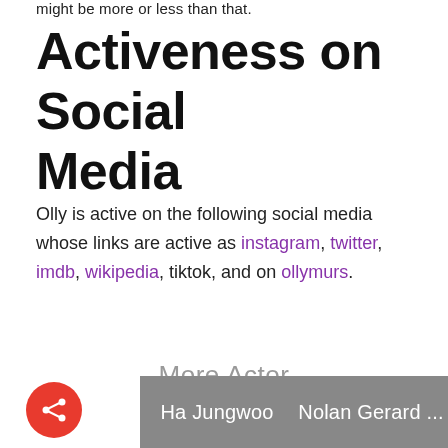might be more or less than that.
Activeness on Social Media
Olly is active on the following social media whose links are active as instagram, twitter, imdb, wikipedia, tiktok, and on ollymurs.
More Actor
Ha Jungwoo
Nolan Gerard ...